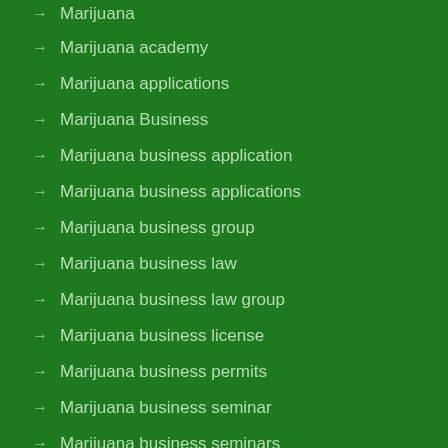Marijuana
Marijuana academy
Marijuana applications
Marijuana Business
Marijuana business application
Marijuana business applications
Marijuana business group
Marijuana business law
Marijuana business law group
Marijuana business license
Marijuana business permits
Marijuana business seminar
Marijuana business seminars
Marijuana collective insurance